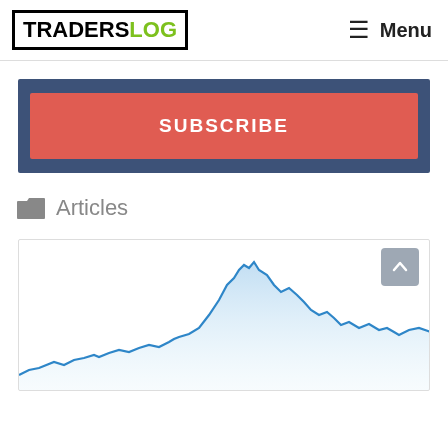TRADERSLOG | Menu
[Figure (screenshot): SUBSCRIBE button with red background inside a blue/dark navy container banner]
Articles
[Figure (area-chart): Partial stock/market area chart with blue line and light blue fill, showing price movements over time, partially cropped at the bottom of the page]